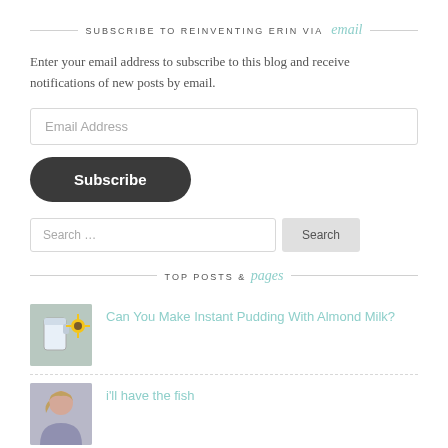SUBSCRIBE TO REINVENTING ERIN VIA email
Enter your email address to subscribe to this blog and receive notifications of new posts by email.
Email Address
Subscribe
Search …
TOP POSTS & pages
[Figure (photo): Thumbnail image showing a jug of almond milk and sunflowers]
Can You Make Instant Pudding With Almond Milk?
[Figure (photo): Thumbnail image showing a woman's face]
i'll have the fish